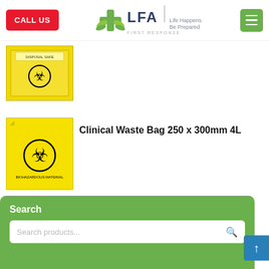[Figure (screenshot): LFA First Response website header with CALL US button, logo, and menu button]
[Figure (photo): Yellow clinical waste/biohazard box container, partially visible]
[Figure (photo): Yellow clinical waste bag with biohazard symbol]
Clinical Waste Bag 250 x 300mm 4L
Search
Search products...